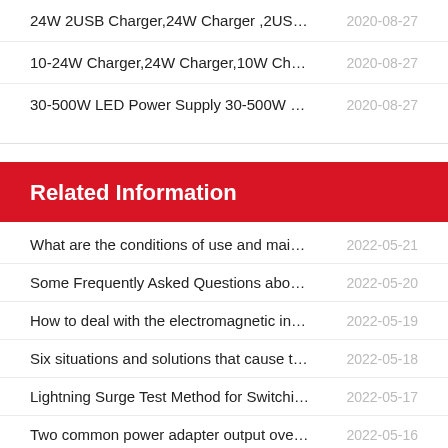24W 2USB Charger,24W Charger ,2USB ...    2020-08-27
10-24W Charger,24W Charger,10W Char...    2020-08-27
30-500W LED Power Supply 30-500W Po...    2020-08-27
Related Information
What are the conditions of use and maint...    2022-05-21
Some Frequently Asked Questions about ...    2022-05-20
How to deal with the electromagnetic inter...    2022-05-19
Six situations and solutions that cause the...    2022-05-18
Lightning Surge Test Method for Switchin...    2022-05-17
Two common power adapter output overlo...    2022-05-16
Common fault maintenance skills of switc...    2022-05-14
How should we choose the charger?    2022-05-13